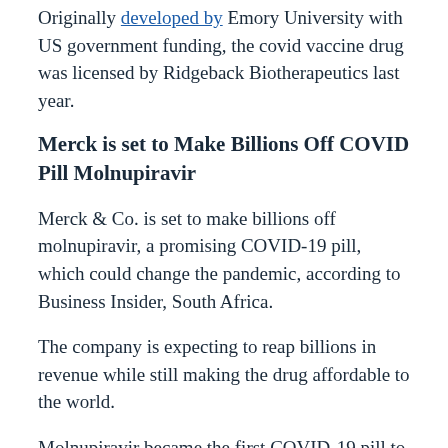Originally developed by Emory University with US government funding, the covid vaccine drug was licensed by Ridgeback Biotherapeutics last year.
Merck is set to Make Billions Off COVID Pill Molnupiravir
Merck & Co. is set to make billions off molnupiravir, a promising COVID-19 pill, which could change the pandemic, according to Business Insider, South Africa.
The company is expecting to reap billions in revenue while still making the drug affordable to the world.
Molnupiravir became the first COVID-19 pill to succeed in a late-stage study, which halved the risk of hospitalization and death.
As long as...